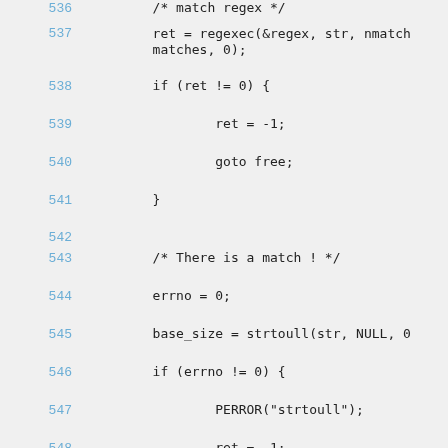Code listing lines 536-550: C source code showing regex match and string-to-unsigned-long-long conversion logic.